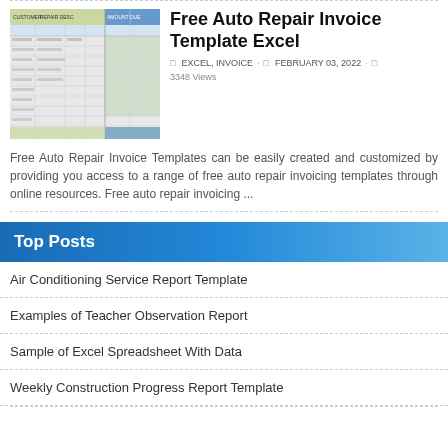[Figure (screenshot): Thumbnail of an auto repair invoice Excel spreadsheet template with green and blue colored columns and rows of data]
Free Auto Repair Invoice Template Excel
□ EXCEL, INVOICE · □ FEBRUARY 03, 2022 · □ 3348 Views
Free Auto Repair Invoice Templates can be easily created and customized by providing you access to a range of free auto repair invoicing templates through online resources. Free auto repair invoicing ...
Top Posts
Air Conditioning Service Report Template
Examples of Teacher Observation Report
Sample of Excel Spreadsheet With Data
Weekly Construction Progress Report Template